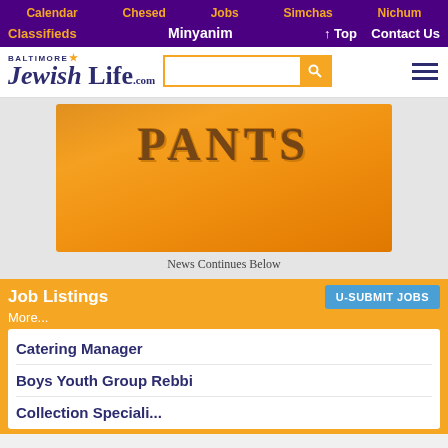Calendar  Chesed  Jobs  Simchas  Nichum  Classifieds  Minyanim  ↑ Top  Contact Us
[Figure (logo): Baltimore Jewish Life .com logo with search box and hamburger menu]
[Figure (illustration): Orange gradient banner with the word PANTS in large textured letters]
News Continues Below
Job Listings
More...
Catering Manager
Boys Youth Group Rebbi
Collection Specialist (partial, cut off)